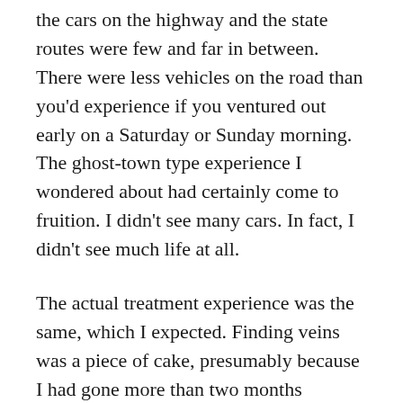the cars on the highway and the state routes were few and far in between. There were less vehicles on the road than you'd experience if you ventured out early on a Saturday or Sunday morning. The ghost-town type experience I wondered about had certainly come to fruition. I didn't see many cars. In fact, I didn't see much life at all.
The actual treatment experience was the same, which I expected. Finding veins was a piece of cake, presumably because I had gone more than two months without a needle stick. Later on in the evening it felt like I had more steel in my leg, and a week has gone by without any change. So I am cautiously optimistic that I